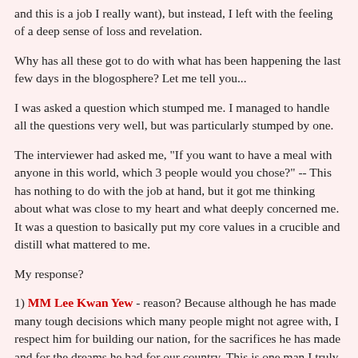and this is a job I really want), but instead, I left with the feeling of a deep sense of loss and revelation.
Why has all these got to do with what has been happening the last few days in the blogosphere? Let me tell you...
I was asked a question which stumped me. I managed to handle all the questions very well, but was particularly stumped by one.
The interviewer had asked me, "If you want to have a meal with anyone in this world, which 3 people would you chose?" -- This has nothing to do with the job at hand, but it got me thinking about what was close to my heart and what deeply concerned me. It was a question to basically put my core values in a crucible and distill what mattered to me.
My response?
1) MM Lee Kwan Yew - reason? Because although he has made many tough decisions which many people might not agree with, I respect him for building our nation, for the sacrifices he has made and for the dreams he had for our country. This is one man I truly